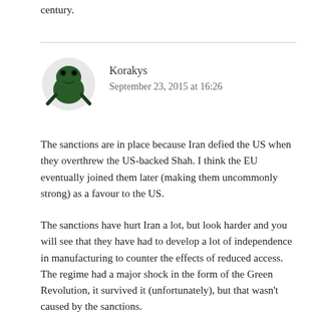century.
[Figure (illustration): Small avatar image of a dark green frog or creature used as a commenter profile picture]
Korakys
September 23, 2015 at 16:26
The sanctions are in place because Iran defied the US when they overthrew the US-backed Shah. I think the EU eventually joined them later (making them uncommonly strong) as a favour to the US.
The sanctions have hurt Iran a lot, but look harder and you will see that they have had to develop a lot of independence in manufacturing to counter the effects of reduced access. The regime had a major shock in the form of the Green Revolution, it survived it (unfortunately), but that wasn't caused by the sanctions.